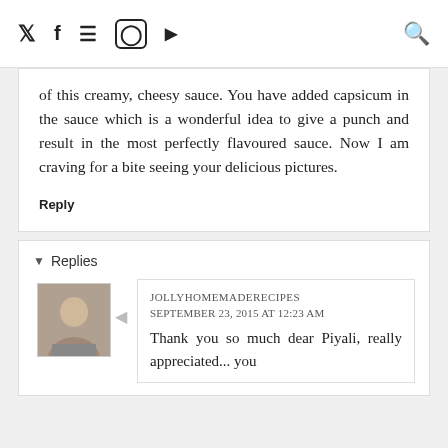Twitter Facebook Pinterest Instagram YouTube [Search]
of this creamy, cheesy sauce. You have added capsicum in the sauce which is a wonderful idea to give a punch and result in the most perfectly flavoured sauce. Now I am craving for a bite seeing your delicious pictures.
Reply
Replies
JOLLYHOMEMADERECIPES  SEPTEMBER 23, 2015 AT 12:23 AM
Thank you so much dear Piyali, really appreciated... you